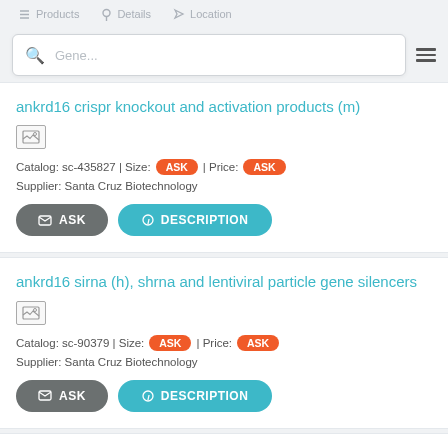Products | Details | Location
Gene... (search bar)
ankrd16 crispr knockout and activation products (m)
[Figure (photo): Product image placeholder thumbnail]
Catalog: sc-435827 | Size: ASK | Price: ASK
Supplier: Santa Cruz Biotechnology
ASK | DESCRIPTION (buttons)
ankrd16 sirna (h), shrna and lentiviral particle gene silencers
[Figure (photo): Product image placeholder thumbnail]
Catalog: sc-90379 | Size: ASK | Price: ASK
Supplier: Santa Cruz Biotechnology
ASK | DESCRIPTION (buttons)
ankrd16 sirna (m), shrna and lentiviral (partial, cut off)